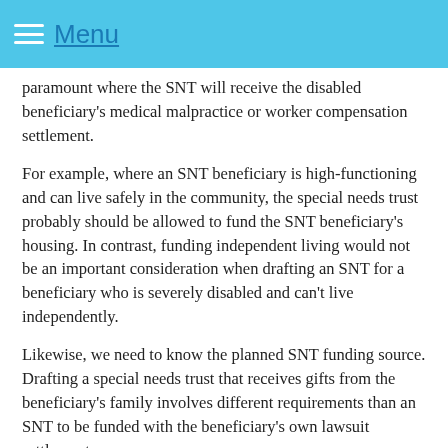Menu
paramount where the SNT will receive the disabled beneficiary's medical malpractice or worker compensation settlement.
For example, where an SNT beneficiary is high-functioning and can live safely in the community, the special needs trust probably should be allowed to fund the SNT beneficiary's housing. In contrast, funding independent living would not be an important consideration when drafting an SNT for a beneficiary who is severely disabled and can't live independently.
Likewise, we need to know the planned SNT funding source. Drafting a special needs trust that receives gifts from the beneficiary's family involves different requirements than an SNT to be funded with the beneficiary's own lawsuit settlement.
We can work with you or your personal injury, medical